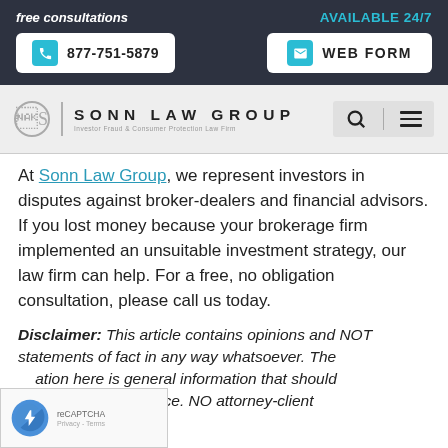free consultations
AVAILABLE 24/7
877-751-5879
WEB FORM
[Figure (logo): Sonn Law Group logo with S emblem and tagline: Investor Fraud & Consumer Protection Law Firm]
At Sonn Law Group, we represent investors in disputes against broker-dealers and financial advisors. If you lost money because your brokerage firm implemented an unsuitable investment strategy, our law firm can help. For a free, no obligation consultation, please call us today.
Disclaimer: This article contains opinions and NOT statements of fact in any way whatsoever. The ation here is general information that should taken as legal advice. NO attorney-client